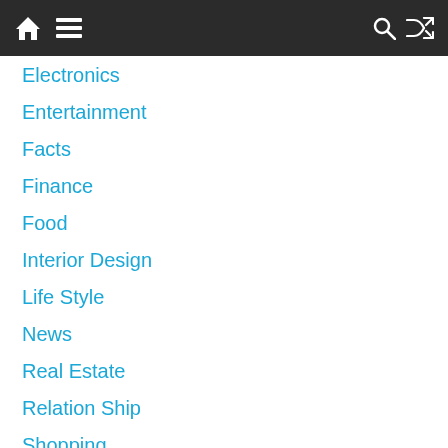Navigation bar with home, menu, search, and shuffle icons
Electronics
Entertainment
Facts
Finance
Food
Interior Design
Life Style
News
Real Estate
Relation Ship
Shopping
Software
Software